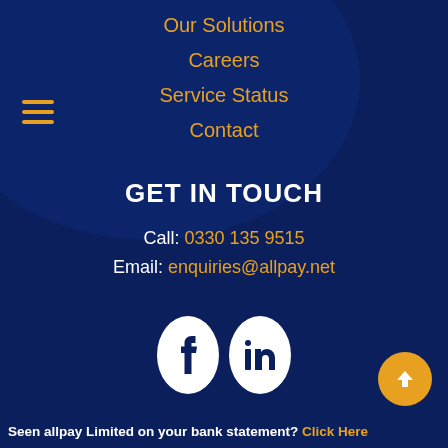Our Solutions
Careers
Service Status
Contact
GET IN TOUCH
Call: 0330 135 9515
Email: enquiries@allpay.net
[Figure (illustration): Two white oval social media icon buttons (Facebook and LinkedIn) on dark blue background]
[Figure (illustration): Orange circular back-to-top arrow button in bottom right corner]
Seen allpay Limited on your bank statement? Click Here